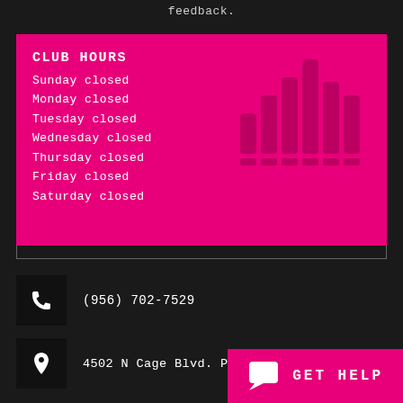feedback.
CLUB HOURS
Sunday closed
Monday closed
Tuesday closed
Wednesday closed
Thursday closed
Friday closed
Saturday closed
(956) 702-7529
4502 N Cage Blvd. Pharr, TX 78577
GET HELP